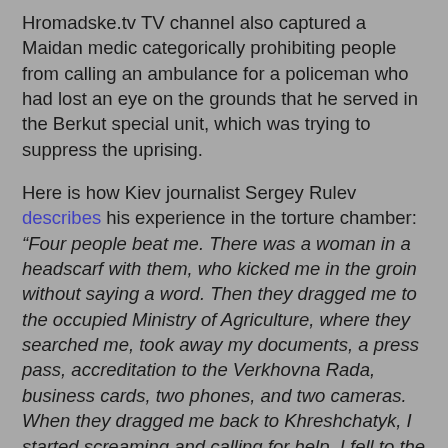Hromadske.tv TV channel also captured a Maidan medic categorically prohibiting people from calling an ambulance for a policeman who had lost an eye on the grounds that he served in the Berkut special unit, which was trying to suppress the uprising.
Here is how Kiev journalist Sergey Rulev describes his experience in the torture chamber: “Four people beat me. There was a woman in a headscarf with them, who kicked me in the groin without saying a word. Then they dragged me to the occupied Ministry of Agriculture, where they searched me, took away my documents, a press pass, accreditation to the Verkhovna Rada, business cards, two phones, and two cameras. When they dragged me back to Khreshchatyk, I started screaming and calling for help. I fell to the ground and was kicked again, but no one reacted. At about 12:00, I was dragged into the burned-out House of Trade Unions. In the lobby, I was immediately beaten up. In the courtyard, unknown people in camouflage fatigues bound my hands, stripped me to my underwear, and continued to beat me… After that, the four of them pinned me to the floor, injected something into my arm again, and said, ‘Now you’re